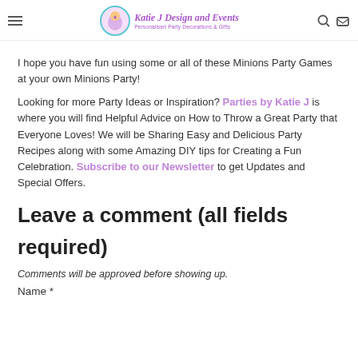Katie J Design and Events — Personalised Party Decorations & Gifts
I hope you have fun using some or all of these Minions Party Games at your own Minions Party!
Looking for more Party Ideas or Inspiration? Parties by Katie J is where you will find Helpful Advice on How to Throw a Great Party that Everyone Loves! We will be Sharing Easy and Delicious Party Recipes along with some Amazing DIY tips for Creating a Fun Celebration. Subscribe to our Newsletter to get Updates and Special Offers.
Leave a comment (all fields required)
Comments will be approved before showing up.
Name *